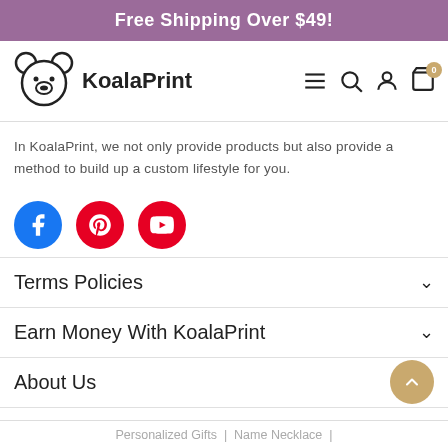Free Shipping Over $49!
[Figure (logo): KoalaPrint logo with koala bear icon and brand name]
In KoalaPrint, we not only provide products but also provide a method to build up a custom lifestyle for you.
[Figure (infographic): Social media icons: Facebook (blue circle), Pinterest (red circle), YouTube (red circle)]
Terms Policies
Earn Money With KoalaPrint
About Us
Personalized Gifts | Name Necklace | Photo Necklace | Projection Necklace